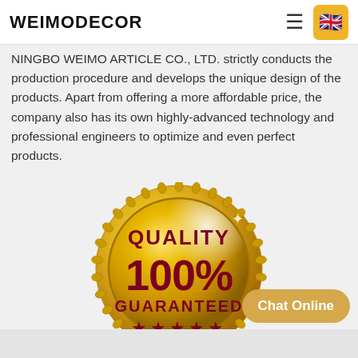WEIMODECOR
NINGBO WEIMO ARTICLE CO., LTD. strictly conducts the production procedure and develops the unique design of the products. Apart from offering a more affordable price, the company also has its own highly-advanced technology and professional engineers to optimize and even perfect products.
[Figure (illustration): Gold circular quality badge/seal with text 'QUALITY 100% GUARANTEED' and five stars, decorative rope border around the coin edge, gradient gold coloring with shine effect]
Chat Online